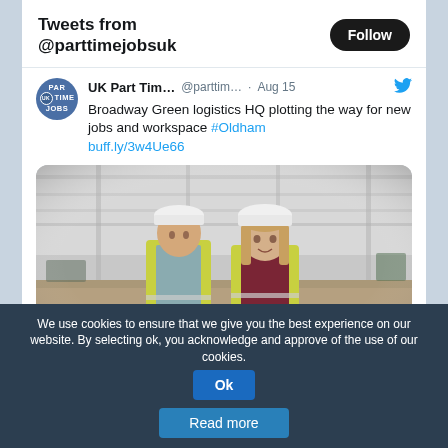Tweets from @parttimejobsuk
UK Part Tim... @parttim... · Aug 15 Broadway Green logistics HQ plotting the way for new jobs and workspace #Oldham buff.ly/3w4Ue66
[Figure (photo): Two people wearing yellow hi-vis vests and white hard hats standing inside a large warehouse/logistics building under construction. The interior shows a vast empty space with industrial roof structure.]
We use cookies to ensure that we give you the best experience on our website. By selecting ok, you acknowledge and approve of the use of our cookies.
Read more